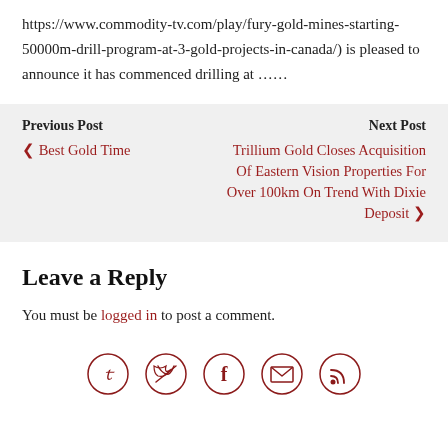https://www.commodity-tv.com/play/fury-gold-mines-starting-50000m-drill-program-at-3-gold-projects-in-canada/) is pleased to announce it has commenced drilling at ……
Previous Post
❮ Best Gold Time
Next Post
Trillium Gold Closes Acquisition Of Eastern Vision Properties For Over 100km On Trend With Dixie Deposit ❯
Leave a Reply
You must be logged in to post a comment.
[Figure (other): Social media icons: Twitter, Facebook, Email, RSS — circular dark red bordered icons]